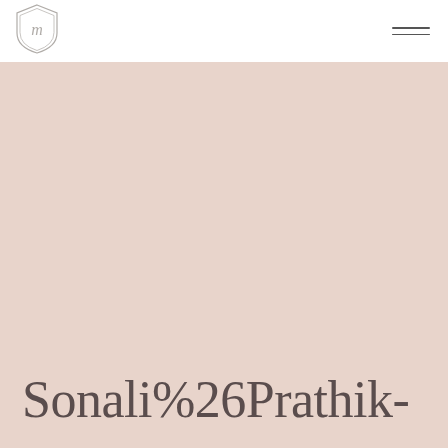[Figure (logo): Shield/crest logo with stylized letter M in the center, decorative border, light gray color]
[Figure (other): Hamburger menu icon: two horizontal dark lines in the top-right corner]
Sonali%26Prathik-